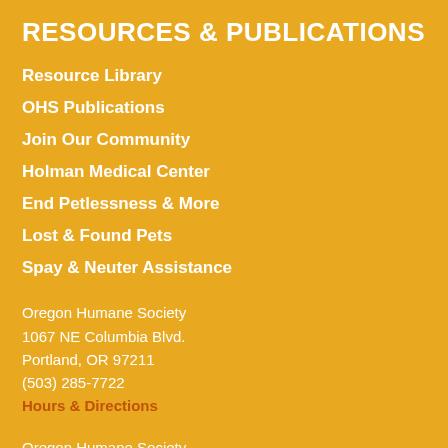RESOURCES & PUBLICATIONS
Resource Library
OHS Publications
Join Our Community
Holman Medical Center
End Petlessness & More
Lost & Found Pets
Spay & Neuter Assistance
Oregon Humane Society
1067 NE Columbia Blvd.
Portland, OR 97211
(503) 285-7722
Hours & Directions
Oregon Humane Society
Salem Campus
4246 Turner Rd SE